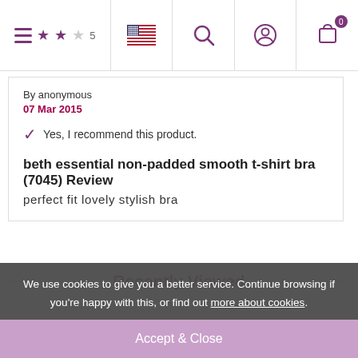Navigation bar with hamburger menu, star rating, flag, search, account, and cart icons
By anonymous
07 Mar 2015
Yes, I recommend this product.
beth essential non-padded smooth t-shirt bra (7045) Review
perfect fit lovely stylish bra
Recently Viewed
We use cookies to give you a better service. Continue browsing if you're happy with this, or find out more about cookies.
Accept & Close